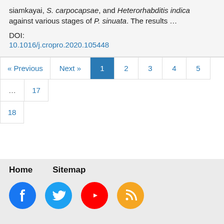siamkayai, S. carpocapsae, and Heterorhabditis indica against various stages of P. sinuata. The results …
DOI:
10.1016/j.cropro.2020.105448
« Previous  Next »  1  2  3  4  5  …  17
18
Home  Sitemap